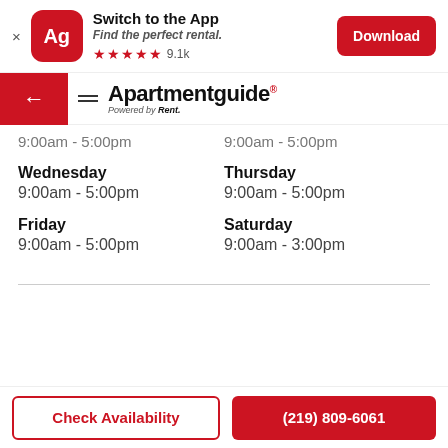[Figure (screenshot): App download banner with Ag logo, Switch to the App text, stars rating 9.1k, and Download button]
[Figure (logo): Apartmentguide logo with back arrow and hamburger menu navigation bar]
9:00am - 5:00pm   9:00am - 5:00pm
Wednesday
9:00am - 5:00pm
Thursday
9:00am - 5:00pm
Friday
9:00am - 5:00pm
Saturday
9:00am - 3:00pm
Check Availability
(219) 809-6061